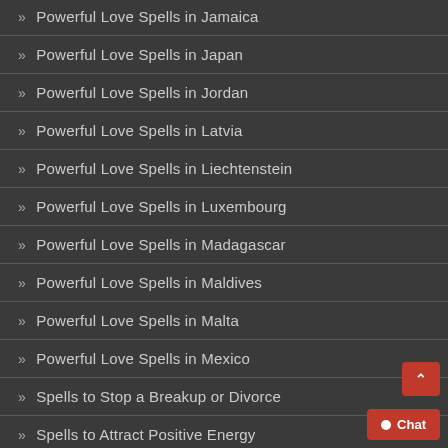» Powerful Love Spells in Jamaica
» Powerful Love Spells in Japan
» Powerful Love Spells in Jordan
» Powerful Love Spells in Latvia
» Powerful Love Spells in Liechtenstein
» Powerful Love Spells in Luxembourg
» Powerful Love Spells in Madagascar
» Powerful Love Spells in Maldives
» Powerful Love Spells in Malta
» Powerful Love Spells in Mexico
» Spells to Stop a Breakup or Divorce
» Spells to Attract Positive Energy
» Return Lost Lover Spells